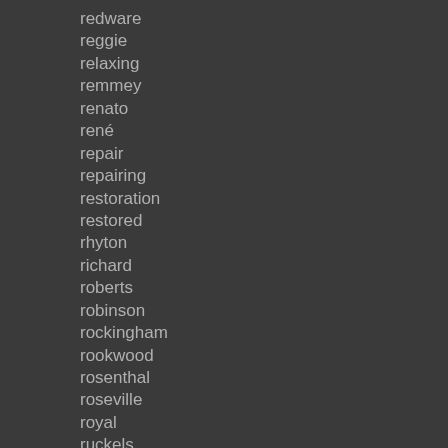redware
reggie
relaxing
remmey
renato
rené
repair
repairing
restoration
restored
rhyton
richard
roberts
robinson
rockingham
rookwood
rosenthal
roseville
royal
ruckels
rustic
rutledge
sale